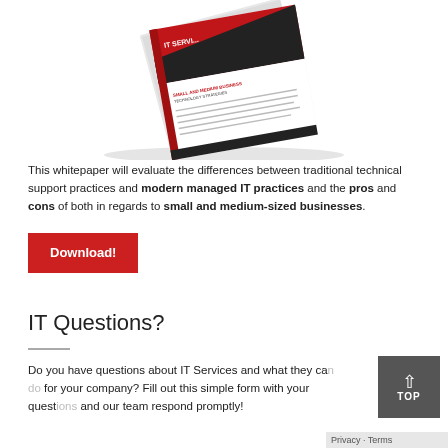[Figure (photo): A book/whitepaper about IT Services for small and medium businesses, shown at an angle with a red and black cover design.]
This whitepaper will evaluate the differences between traditional technical support practices and modern managed IT practices and the pros and cons of both in regards to small and medium-sized businesses.
Download!
IT Questions?
Do you have questions about IT Services and what they can do for your company? Fill out this simple form with your questions and our team respond promptly!